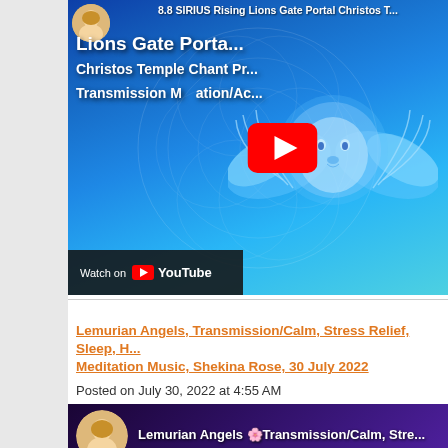[Figure (screenshot): YouTube video thumbnail for '8.8 SIRIUS Rising Lions Gate Portal Christos Temple Chant Transmission Meditation/Activation' showing a glowing blue winged lion on a blue cosmic background with a YouTube play button in the center and 'Watch on YouTube' bar at bottom left. A woman's avatar appears top left.]
Lemurian Angels, Transmission/Calm, Stress Relief, Sleep, H... Meditation Music, Shekina Rose, 30 July 2022
Posted on July 30, 2022 at 4:55 AM
[Figure (screenshot): Partial YouTube video thumbnail for 'Lemurian Angels Transmission/Calm, Stre...' showing a woman's avatar and text on a purple gradient background.]